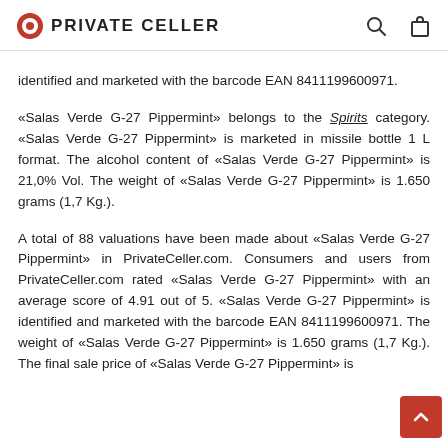PRIVATE CELLER
identified and marketed with the barcode EAN 8411199600971.
«Salas Verde G-27 Pippermint» belongs to the Spirits category. «Salas Verde G-27 Pippermint» is marketed in missile bottle 1 L format. The alcohol content of «Salas Verde G-27 Pippermint» is 21,0% Vol. The weight of «Salas Verde G-27 Pippermint» is 1.650 grams (1,7 Kg.).
A total of 88 valuations have been made about «Salas Verde G-27 Pippermint» in PrivateCeller.com. Consumers and users from PrivateCeller.com rated «Salas Verde G-27 Pippermint» with an average score of 4.91 out of 5. «Salas Verde G-27 Pippermint» is identified and marketed with the barcode EAN 8411199600971. The weight of «Salas Verde G-27 Pippermint» is 1.650 grams (1,7 Kg.). The final sale price of «Salas Verde G-27 Pippermint» is